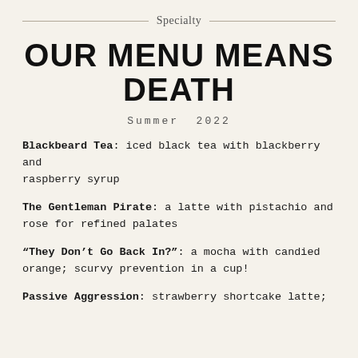Specialty
OUR MENU MEANS DEATH
Summer 2022
Blackbeard Tea: iced black tea with blackberry and raspberry syrup
The Gentleman Pirate: a latte with pistachio and rose for refined palates
“They Don’t Go Back In?”: a mocha with candied orange; scurvy prevention in a cup!
Passive Aggression: strawberry shortcake latte;